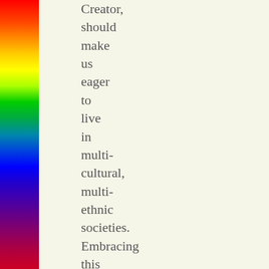[Figure (illustration): A vertical rainbow gradient bar on the left side of the page, spanning full height with colors from red at top through orange, yellow, green, blue, indigo, violet.]
Creator, should make us eager to live in multi-cultural, multi-ethnic societies. Embracing this theologically-based positive attitude toward human diversity can help